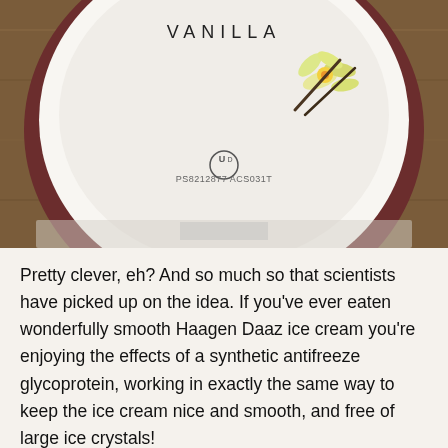[Figure (photo): Top-down view of a Haagen-Daaz vanilla ice cream container lid showing VANILLA text, vanilla flower and pod illustration, UD kosher symbol, and code PS8212877 ACS031T, sitting on a wooden surface.]
Pretty clever, eh? And so much so that scientists have picked up on the idea. If you’ve ever eaten wonderfully smooth Haagen Daaz ice cream you’re enjoying the effects of a synthetic antifreeze glycoprotein, working in exactly the same way to keep the ice cream nice and smooth, and free of large ice crystals!
[Figure (photo): Partial bottom view of another ice cream container lid with colorful design visible, cropped at bottom of page.]